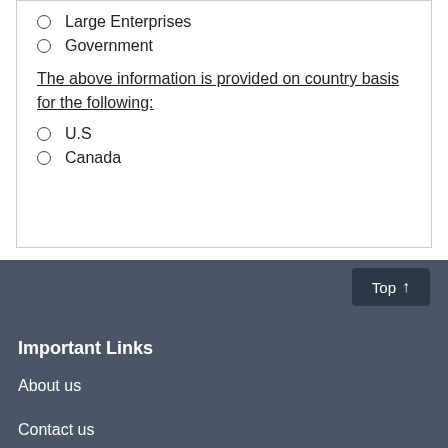Large Enterprises
Government
The above information is provided on country basis for the following:
U.S
Canada
Important Links
About us
Contact us
How to order